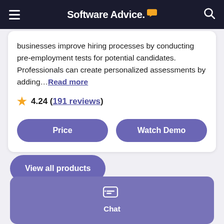Software Advice.
businesses improve hiring processes by conducting pre-employment tests for potential candidates. Professionals can create personalized assessments by adding…Read more
4.24 (191 reviews)
Price
Watch Demo
View all products
Chat